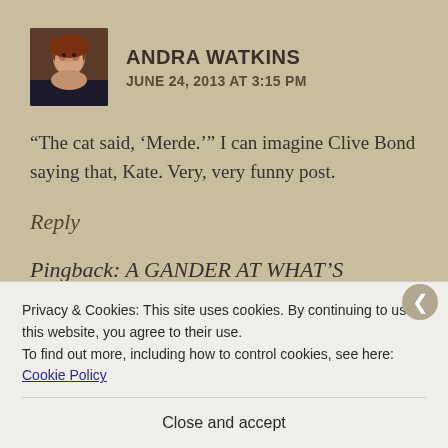[Figure (photo): Avatar photo of Andra Watkins, a woman with reddish-brown hair]
ANDRA WATKINS
JUNE 24, 2013 AT 3:15 PM
“The cat said, ‘Merde.’” I can imagine Clive Bond saying that, Kate. Very, very funny post.
Reply
Pingback: A GANDER AT WHAT’S SOURCE
Privacy & Cookies: This site uses cookies. By continuing to use this website, you agree to their use.
To find out more, including how to control cookies, see here: Cookie Policy
Close and accept